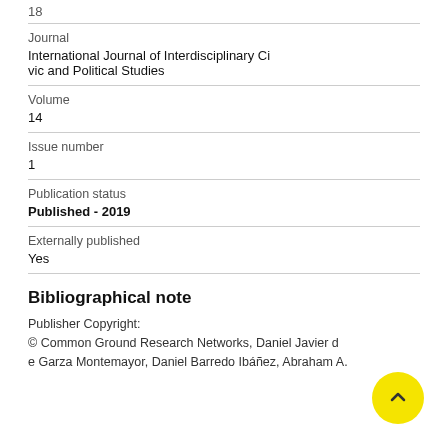18
Journal
International Journal of Interdisciplinary Civic and Political Studies
Volume
14
Issue number
1
Publication status
Published - 2019
Externally published
Yes
Bibliographical note
Publisher Copyright:
© Common Ground Research Networks, Daniel Javier de Garza Montemayor, Daniel Barredo Ibáñez, Abraham A.